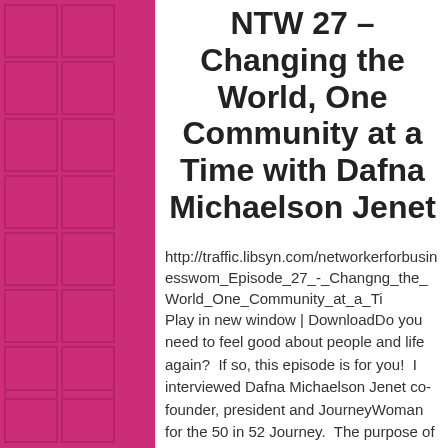NTW 27 – Changing the World, One Community at a Time with Dafna Michaelson Jenet
http://traffic.libsyn.com/networkerforbusinesswom_Episode_27_-_Changng_the_World_One_Community_at_a_Ti Play in new window | DownloadDo you need to feel good about people and life again?  If so, this episode is for you!  I interviewed Dafna Michaelson Jenet co-founder, president and JourneyWoman for the 50 in 52 Journey.  The purpose of her Journey was simple: visit all 50 states in the USA in a year and